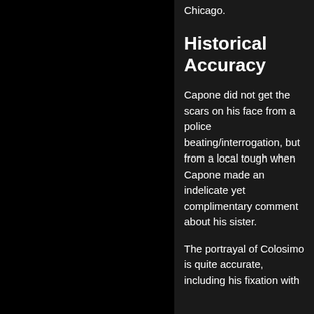Chicago.
Historical Accuracy
Capone did not get the scars on his face from a police beating/interrogation, but from a local tough when Capone made an indelicate yet complimentary comment about his sister.
The portrayal of Colosimo is quite accurate, including his fixation with